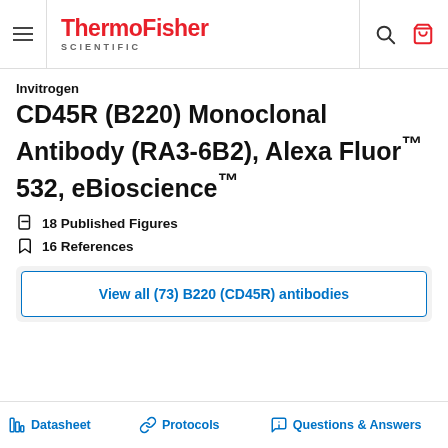ThermoFisher SCIENTIFIC
Invitrogen
CD45R (B220) Monoclonal Antibody (RA3-6B2), Alexa Fluor™ 532, eBioscience™
18 Published Figures
16 References
View all (73) B220 (CD45R) antibodies
Datasheet  Protocols  Questions & Answers